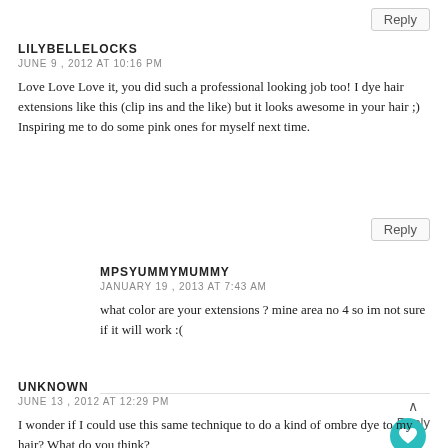Reply
LILYBELLELOCKS
JUNE 9, 2012 AT 10:16 PM
Love Love Love it, you did such a professional looking job too! I dye hair extensions like this (clip ins and the like) but it looks awesome in your hair ;) Inspiring me to do some pink ones for myself next time.
Reply
MPSYUMMYMUMMY
JANUARY 19, 2013 AT 7:43 AM
what color are your extensions ? mine area no 4 so im not sure if it will work :(
Reply
UNKNOWN
JUNE 13, 2012 AT 12:29 PM
I wonder if I could use this same technique to do a kind of ombre dye to my hair? What do you think?